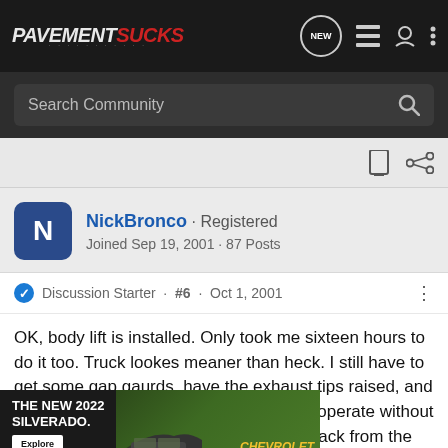PavementSucks - NEW
Search Community
NickBronco · Registered
Joined Sep 19, 2001 · 87 Posts
Discussion Starter · #6 · Oct 1, 2001
OK, body lift is installed. Only took me sixteen hours to do it too. Truck lookes meaner than heck. I still have to get some gap gaurds, have the exhaust tips raised, and get the transfer case lever bent so it will operate without hitting the floor board. As soon as I get back from the exhaust shop, I'll take some pics and hav
[Figure (screenshot): Advertisement for The New 2022 Silverado by Chevrolet with an Explore button]